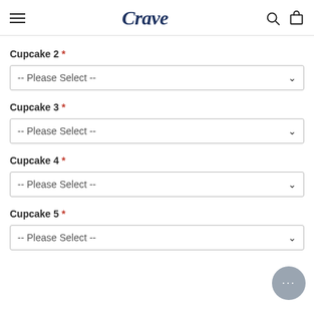Crave
Cupcake 2 *
-- Please Select --
Cupcake 3 *
-- Please Select --
Cupcake 4 *
-- Please Select --
Cupcake 5 *
-- Please Select --